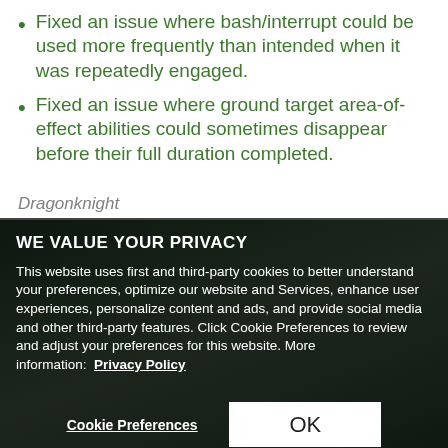Fixed an issue where bash/interrupt could be used more frequently than intended when it was repeatedly engaged.
Fixed an issue where ground target area-of-effect abilities could sometimes disappear before their full duration completed.
Dragonknight
WE VALUE YOUR PRIVACY
This website uses first and third-party cookies to better understand your preferences, optimize our website and Services, enhance user experiences, personalize content and ads, and provide social media and other third-party features. Click Cookie Preferences to review and adjust your preferences for this website. More information:  Privacy Policy
Cookie Preferences
OK